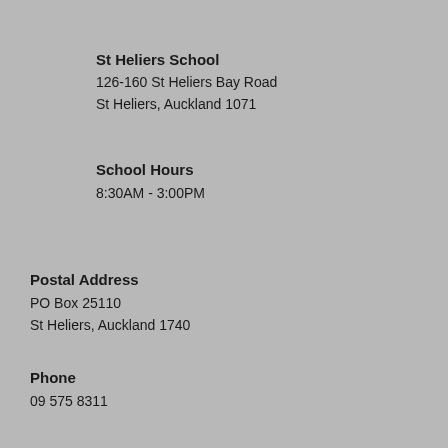St Heliers School
126-160 St Heliers Bay Road
St Heliers, Auckland 1071
School Hours
8:30AM - 3:00PM
Postal Address
PO Box 25110
St Heliers, Auckland 1740
Phone
09 575 8311